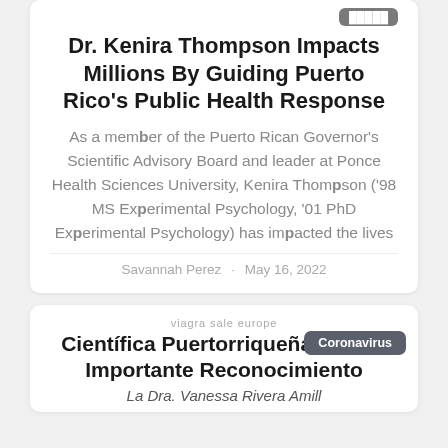Dr. Kenira Thompson Impacts Millions By Guiding Puerto Rico's Public Health Response
As a member of the Puerto Rican Governor's Scientific Advisory Board and leader at Ponce Health Sciences University, Kenira Thompson ('98 MS Experimental Psychology, '01 PhD Experimental Psychology) has impacted the lives
Savannah Perez · May 16, 2022
viagra sale europe
Científica Puertorriqueña Recibe Importante Reconocimiento
La Dra. Vanessa Rivera Amill